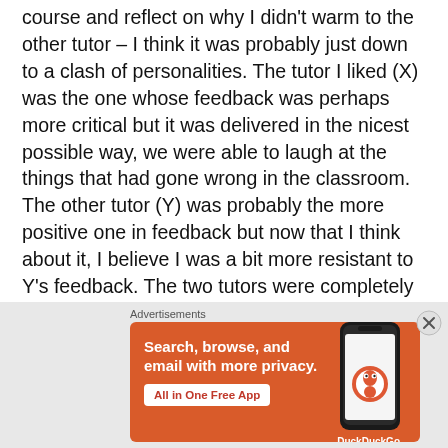course and reflect on why I didn't warm to the other tutor – I think it was probably just down to a clash of personalities.  The tutor I liked (X) was the one whose feedback was perhaps more critical but it was delivered in the nicest possible way, we were able to laugh at the things that had gone wrong in the classroom.  The other tutor (Y) was probably the more positive one in feedback but now that I think about it, I believe I was a bit more resistant to Y's feedback.  The two tutors were completely different types of teacher and I was aiming to be like X but I now realise that I was
[Figure (other): DuckDuckGo advertisement banner with orange background. Text reads: 'Search, browse, and email with more privacy. All in One Free App'. Shows a smartphone with DuckDuckGo logo and branding.]